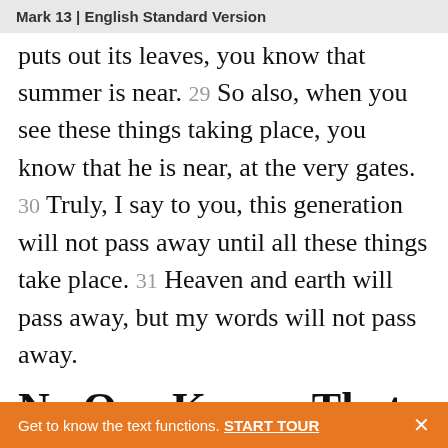Mark 13 | English Standard Version
puts out its leaves, you know that summer is near. 29 So also, when you see these things taking place, you know that he is near, at the very gates. 30 Truly, I say to you, this generation will not pass away until all these things take place. 31 Heaven and earth will pass away, but my words will not pass away.
No One Knows That Day
Get to know the text functions. START TOUR ×